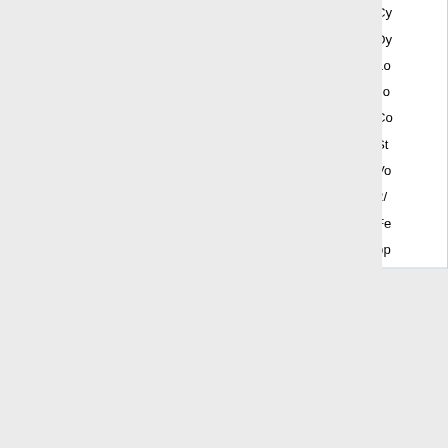| Author | Year | Journal | Title |
| --- | --- | --- | --- |
| Stump, D., & Saizuka | 1997 | Constructional Steel Research | Cy...
Dy...
Lo...
Jo...
Co...
St...
Vo...
2/...
Fe...
pp... |
Category:  Reference Lists
This page was last edited on 1 March 2021, at 22:13.
Privacy policy
About Composite Systems
Disclaimers
[Figure (logo): Powered by MediaWiki logo]